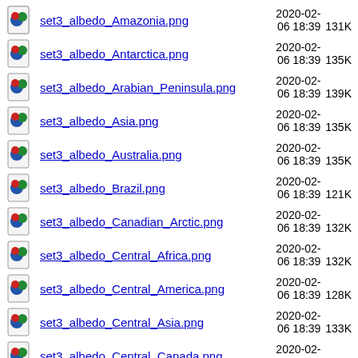set3_albedo_Amazonia.png  2020-02-06 18:39  131K
set3_albedo_Antarctica.png  2020-02-06 18:39  135K
set3_albedo_Arabian_Peninsula.png  2020-02-06 18:39  139K
set3_albedo_Asia.png  2020-02-06 18:39  135K
set3_albedo_Australia.png  2020-02-06 18:39  135K
set3_albedo_Brazil.png  2020-02-06 18:39  121K
set3_albedo_Canadian_Arctic.png  2020-02-06 18:39  132K
set3_albedo_Central_Africa.png  2020-02-06 18:39  132K
set3_albedo_Central_America.png  2020-02-06 18:39  128K
set3_albedo_Central_Asia.png  2020-02-06 18:39  133K
set3_albedo_Central_Canada.png  2020-02-06 18:39  131K